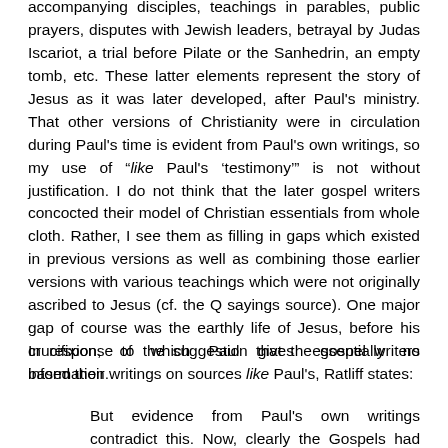accompanying disciples, teachings in parables, public prayers, disputes with Jewish leaders, betrayal by Judas Iscariot, a trial before Pilate or the Sanhedrin, an empty tomb, etc. These latter elements represent the story of Jesus as it was later developed, after Paul's ministry. That other versions of Christianity were in circulation during Paul's time is evident from Paul's own writings, so my use of “like Paul's 'testimony'” is not without justification. I do not think that the later gospel writers concocted their model of Christian essentials from whole cloth. Rather, I see them as filling in gaps which existed in previous versions as well as combining those earlier versions with various teachings which were not originally ascribed to Jesus (cf. the Q sayings source). One major gap of course was the earthly life of Jesus, before his crucifixion, of which Paul gives essentially no information.
In response to the suggestion that the gospel writers based their writings on sources like Paul's, Ratliff states:
But evidence from Paul's own writings contradict this. Now, clearly the Gospels had not been